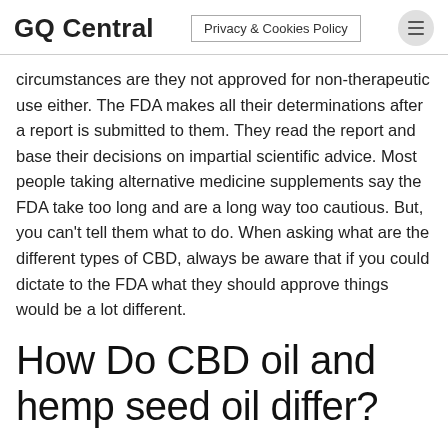GQ Central | Privacy & Cookies Policy
circumstances are they not approved for non-therapeutic use either. The FDA makes all their determinations after a report is submitted to them. They read the report and base their decisions on impartial scientific advice. Most people taking alternative medicine supplements say the FDA take too long and are a long way too cautious. But, you can't tell them what to do. When asking what are the different types of CBD, always be aware that if you could dictate to the FDA what they should approve things would be a lot different.
How Do CBD oil and hemp seed oil differ?